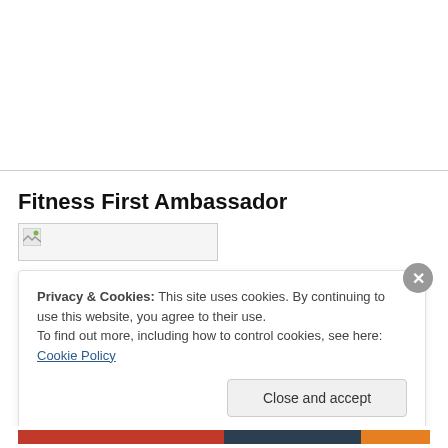Fitness First Ambassador
[Figure (photo): Broken/placeholder image thumbnail with small icon]
Privacy & Cookies: This site uses cookies. By continuing to use this website, you agree to their use.
To find out more, including how to control cookies, see here: Cookie Policy
Close and accept